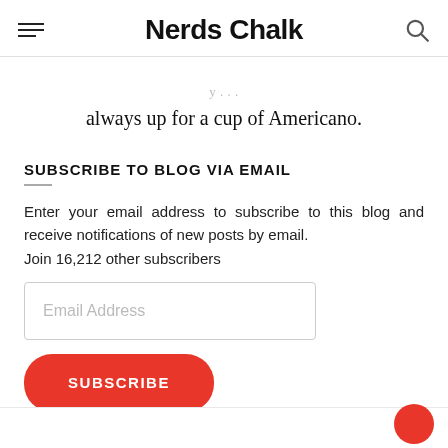Nerds Chalk
always up for a cup of Americano.
SUBSCRIBE TO BLOG VIA EMAIL
Enter your email address to subscribe to this blog and receive notifications of new posts by email.
Join 16,212 other subscribers
Email Address
SUBSCRIBE